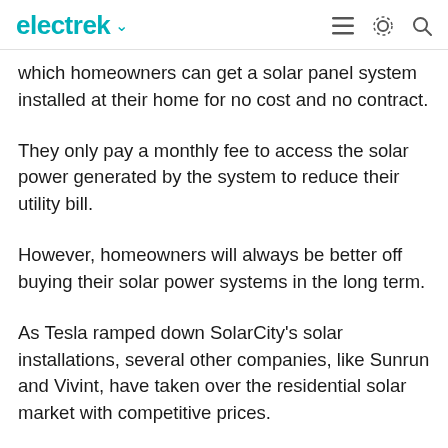electrek
which homeowners can get a solar panel system installed at their home for no cost and no contract.
They only pay a monthly fee to access the solar power generated by the system to reduce their utility bill.
However, homeowners will always be better off buying their solar power systems in the long term.
As Tesla ramped down SolarCity's solar installations, several other companies, like Sunrun and Vivint, have taken over the residential solar market with competitive prices.
In order to be competitive with those companies, Tesla is now offering a new price-matching policy.
Tesla wrote:
In order to fulfill our promise of providing you